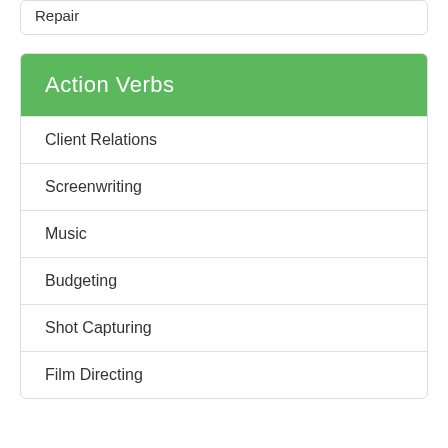Repair
Action Verbs
Client Relations
Screenwriting
Music
Budgeting
Shot Capturing
Film Directing